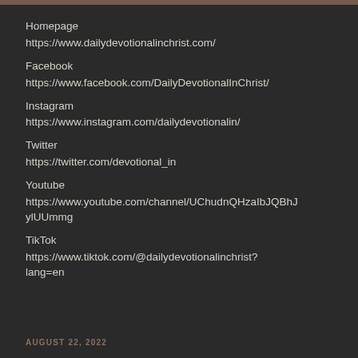Homepage
https://www.dailydevotionalinchrist.com/
Facebook
https://www.facebook.com/DailyDevotionalInChrist/
Instagram
https://www.instagram.com/dailydevotionalin/
Twitter
https://twitter.com/devotional_in
Youtube
https://www.youtube.com/channel/UChudnQHzaIbJQBhJylUUmmg
TikTok
https://www.tiktok.com/@dailydevotionalinchrist?lang=en
AUGUST 22, 2022